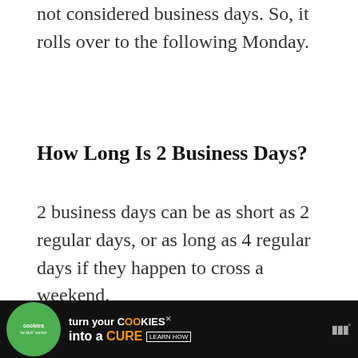not considered business days. So, it rolls over to the following Monday.
How Long Is 2 Business Days?
2 business days can be as short as 2 regular days, or as long as 4 regular days if they happen to cross a weekend.
Let’s look over some examples.
2 business days after Monday is Wednesday.
[Figure (other): Green circular like/heart button with count of 1 and share button below]
[Figure (other): What’s Next panel with thumbnail and text: What Is Amazon MK...]
[Figure (other): Cookies for Kids Cancer advertisement banner: turn your cookies into a CURE LEARN HOW]